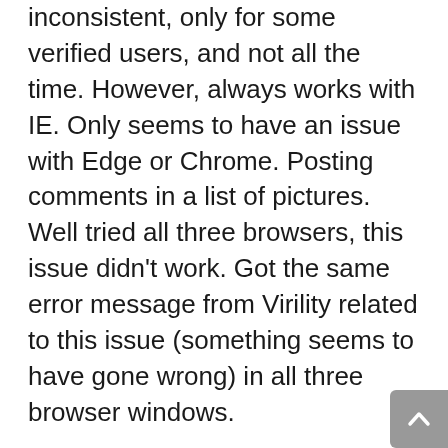inconsistent, only for some verified users, and not all the time. However, always works with IE. Only seems to have an issue with Edge or Chrome. Posting comments in a list of pictures. Well tried all three browsers, this issue didn't work. Got the same error message from Virility related to this issue (something seems to have gone wrong) in all three browser windows.
I haven't tried Safari, that is my next goal. The Macintosh OS is more Unix based than Windows is, sot here be some stability there that I don't have in windows. I also built a Virtual Machine with Ubuntu and will try a pure Linux OS and connect to see if either of these problems do, or do not exist in that environment as well.